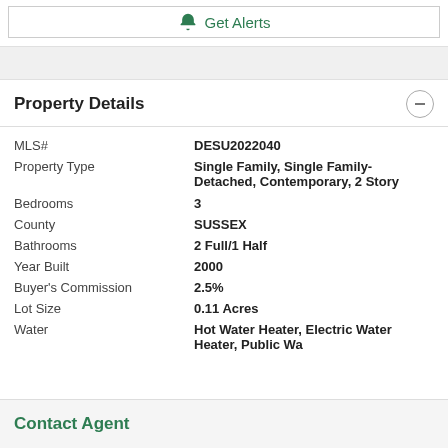Get Alerts
Property Details
| Field | Value |
| --- | --- |
| MLS# | DESU2022040 |
| Property Type | Single Family, Single Family-Detached, Contemporary, 2 Story |
| Bedrooms | 3 |
| County | SUSSEX |
| Bathrooms | 2 Full/1 Half |
| Year Built | 2000 |
| Buyer's Commission | 2.5% |
| Lot Size | 0.11 Acres |
| Water | Hot Water Heater, Electric Water Heater, Public Wa |
Contact Agent